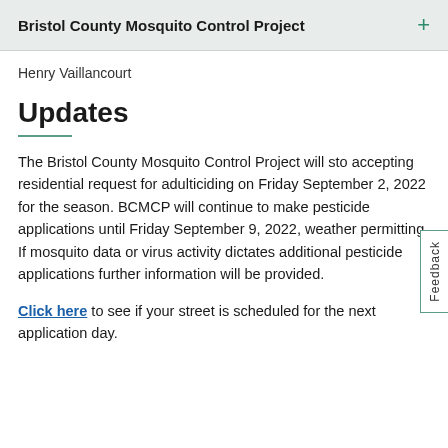Bristol County Mosquito Control Project
Henry Vaillancourt
Updates
The Bristol County Mosquito Control Project will stop accepting residential request for adulticiding on Friday September 2, 2022 for the season. BCMCP will continue to make pesticide applications until Friday September 9, 2022, weather permitting. If mosquito data or virus activity dictates additional pesticide applications further information will be provided.
Click here to see if your street is scheduled for the next application day.